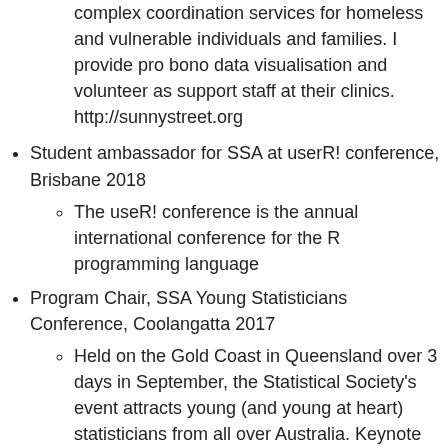complex coordination services for homeless and vulnerable individuals and families. I provide pro bono data visualisation and volunteer as support staff at their clinics. http://sunnystreet.org
Student ambassador for SSA at userR! conference, Brisbane 2018
The useR! conference is the annual international conference for the R programming language
Program Chair, SSA Young Statisticians Conference, Coolangatta 2017
Held on the Gold Coast in Queensland over 3 days in September, the Statistical Society's event attracts young (and young at heart) statisticians from all over Australia. Keynote speakers were Genevera Allen, Di Cook, Bronwyn Harch, and Violetta Misiorek. Kerrie